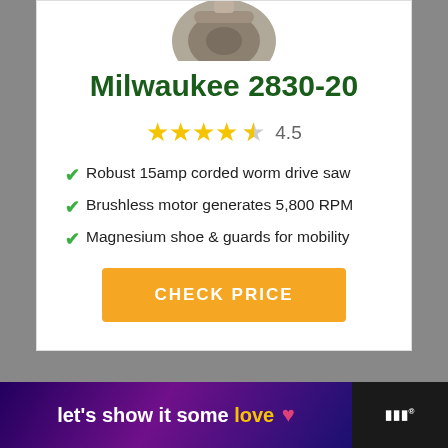[Figure (photo): Partial product image of Milwaukee 2830-20 worm drive saw at the top of the card]
Milwaukee 2830-20
★★★★✩ 4.5
Robust 15amp corded worm drive saw
Brushless motor generates 5,800 RPM
Magnesium shoe & guards for mobility
CHECK PRICE
[Figure (infographic): Advertisement banner: let's show it some love]